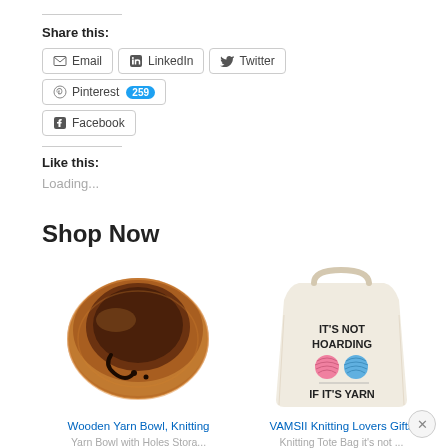Share this:
Email  LinkedIn  Twitter  Pinterest 259  Facebook
Like this:
Loading...
Shop Now
[Figure (photo): Wooden yarn bowl with spiral slot, made of dark walnut wood]
Wooden Yarn Bowl, Knitting
Yarn Bowl with Holes Stora...
$22.99  ✓prime
[Figure (photo): Cream canvas tote bag reading IT'S NOT HOARDING IF IT'S YARN with yarn ball illustrations]
VAMSII Knitting Lovers Gifts
Knitting Tote Bag it's not ...
$16.99  ✓prime